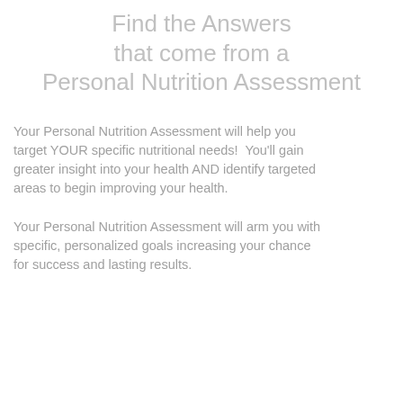Find the Answers that come from a Personal Nutrition Assessment
Your Personal Nutrition Assessment will help you target YOUR specific nutritional needs!  You’ll gain greater insight into your health AND identify targeted areas to begin improving your health.
Your Personal Nutrition Assessment will arm you with specific, personalized goals increasing your chance for success and lasting results.